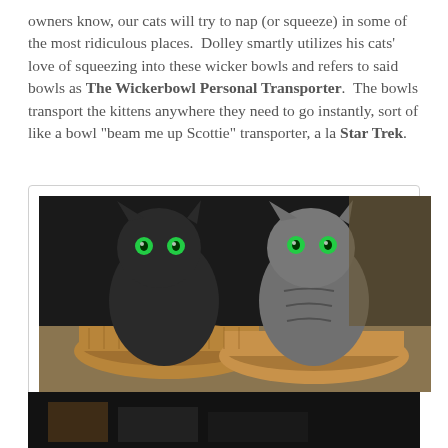owners know, our cats will try to nap (or squeeze) in some of the most ridiculous places.  Dolley smartly utilizes his cats' love of squeezing into these wicker bowls and refers to said bowls as The Wickerbowl Personal Transporter.  The bowls transport the kittens anywhere they need to go instantly, sort of like a bowl "beam me up Scottie" transporter, a la Star Trek.
[Figure (photo): Two cats with glowing green eyes sitting in wicker bowl baskets on a carpeted floor. Left cat is dark/black, right cat is grey tabby striped.]
Tai (left) and Xena in Wicker Bowl Transporters One & Two
[Figure (photo): Partial view of another photo at the bottom of the page, showing what appears to be a dark indoor scene.]